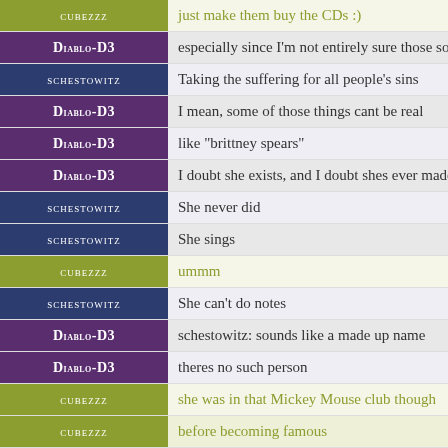| User | Message |
| --- | --- |
| CUBEZZZ | just make them buy the CDs :) |
| Diablo-D3 | especially since I'm not entirely sure those songs e |
| SCHESTOWITZ | Taking the suffering for all people's sins |
| Diablo-D3 | I mean, some of those things cant be real |
| Diablo-D3 | like "brittney spears" |
| Diablo-D3 | I doubt she exists, and I doubt shes ever made mu |
| SCHESTOWITZ | She never did |
| SCHESTOWITZ | She sings |
| CUBEZZZ | ummm |
| SCHESTOWITZ | She can't do notes |
| Diablo-D3 | schestowitz: sounds like a made up name |
| Diablo-D3 | theres no such person |
| CUBEZZZ | she was in that Mickey Mouse club though |
| CUBEZZZ | before becoming famous |
| Diablo-D3 | mickey mouse is a fictional character |